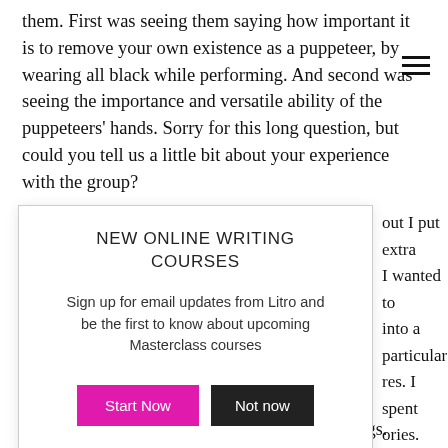them. First was seeing them saying how important it is to remove your own existence as a puppeteer, by wearing all black while performing. And second was seeing the importance and versatile ability of the puppeteers' hands. Sorry for this long question, but could you tell us a little bit about your experience with the group?
[Figure (other): Modal popup advertisement for NEW ONLINE WRITING COURSES with sign-up text and two buttons: Start Now (magenta) and Not now (black)]
out I put extra I wanted to into a particular res. I spent ories. However, I Before my first s" and "dolls", to he told me that e large, but have
no legs. Puppeteers' hands are a substitute for legs.